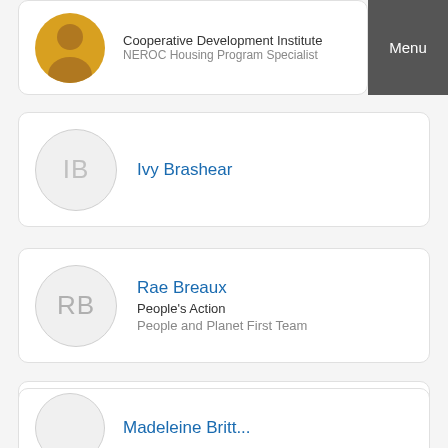Cooperative Development Institute / NEROC Housing Program Specialist
Ivy Brashear
Rae Breaux / People's Action / People and Planet First Team
Rae Breaux
Madeleine Britt...